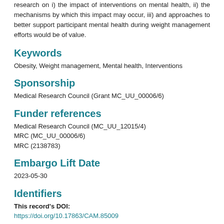research on i) the impact of interventions on mental health, ii) the mechanisms by which this impact may occur, iii) and approaches to better support participant mental health during weight management efforts would be of value.
Keywords
Obesity, Weight management, Mental health, Interventions
Sponsorship
Medical Research Council (Grant MC_UU_00006/6)
Funder references
Medical Research Council (MC_UU_12015/4)
MRC (MC_UU_00006/6)
MRC (2138783)
Embargo Lift Date
2023-05-30
Identifiers
This record's DOI: https://doi.org/10.17863/CAM.85009